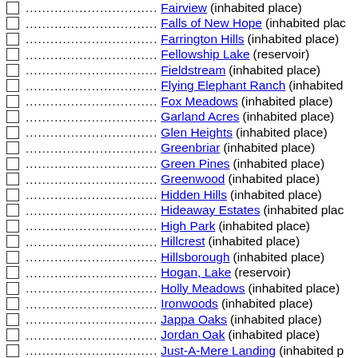Fairview (inhabited place)
Falls of New Hope (inhabited place)
Farrington Hills (inhabited place)
Fellowship Lake (reservoir)
Fieldstream (inhabited place)
Flying Elephant Ranch (inhabited place)
Fox Meadows (inhabited place)
Garland Acres (inhabited place)
Glen Heights (inhabited place)
Greenbriar (inhabited place)
Green Pines (inhabited place)
Greenwood (inhabited place)
Hidden Hills (inhabited place)
Hideaway Estates (inhabited place)
High Park (inhabited place)
Hillcrest (inhabited place)
Hillsborough (inhabited place)
Hogan, Lake (reservoir)
Holly Meadows (inhabited place)
Ironwoods (inhabited place)
Jappa Oaks (inhabited place)
Jordan Oak (inhabited place)
Just-A-Mere Landing (inhabited place)
Kensington Trace (inhabited place)